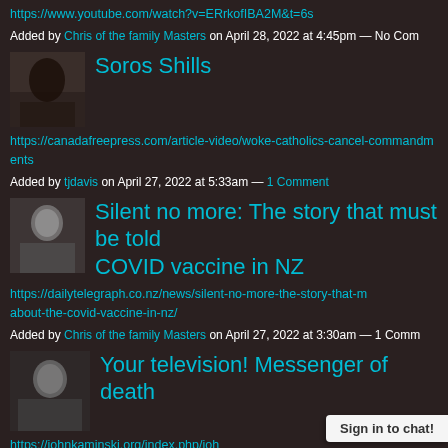https://www.youtube.com/watch?v=ERrkofIBA2M&t=6s
Added by Chris of the family Masters on April 28, 2022 at 4:45pm — No Com
[Figure (photo): Avatar thumbnail image]
Soros Shills
https://canadafreepress.com/article-video/woke-catholics-cancel-commandments
Added by tjdavis on April 27, 2022 at 5:33am — 1 Comment
[Figure (photo): Avatar thumbnail image of person]
Silent no more: The story that must be told about the COVID vaccine in NZ
https://dailytelegraph.co.nz/news/silent-no-more-the-story-that-must-be-told-about-the-covid-vaccine-in-nz/
Added by Chris of the family Masters on April 27, 2022 at 3:30am — 1 Comm
[Figure (photo): Avatar thumbnail image of person]
Your television! Messenger of death
https://johnkaminski.org/index.php/joh...
Sign in to chat!